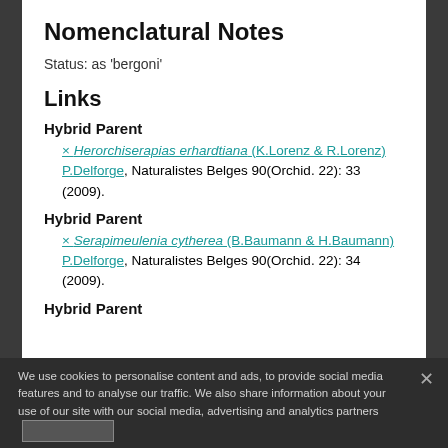Nomenclatural Notes
Status: as 'bergoni'
Links
Hybrid Parent
× Herorchiserapias erhardtiana (K.Lorenz & R.Lorenz) P.Delforge, Naturalistes Belges 90(Orchid. 22): 33 (2009).
Hybrid Parent
× Serapimeulenia cytherea (B.Baumann & H.Baumann) P.Delforge, Naturalistes Belges 90(Orchid. 22): 34 (2009).
Hybrid Parent
We use cookies to personalise content and ads, to provide social media features and to analyse our traffic. We also share information about your use of our site with our social media, advertising and analytics partners